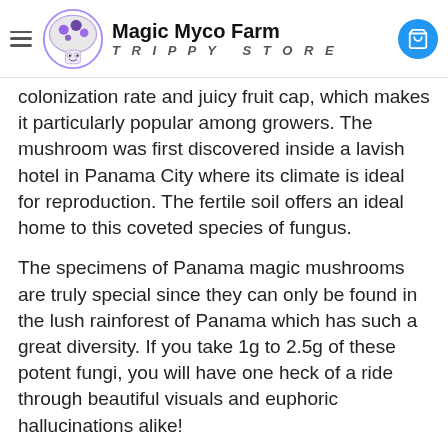Magic Myco Farm TRIPPY STORE
colonization rate and juicy fruit cap, which makes it particularly popular among growers. The mushroom was first discovered inside a lavish hotel in Panama City where its climate is ideal for reproduction. The fertile soil offers an ideal home to this coveted species of fungus.
The specimens of Panama magic mushrooms are truly special since they can only be found in the lush rainforest of Panama which has such a great diversity. If you take 1g to 2.5g of these potent fungi, you will have one heck of a ride through beautiful visuals and euphoric hallucinations alike!
Panama shrooms are moderately potent. They are quite spiritual and offer light to medium visuals for most users. Panama cubensis is known for their friendly, uplifting, spiritual effects leading it to become a top choice for meditation